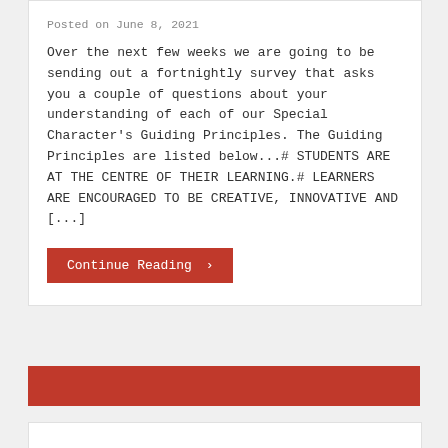Posted on June 8, 2021
Over the next few weeks we are going to be sending out a fortnightly survey that asks you a couple of questions about your understanding of each of our Special Character's Guiding Principles. The Guiding Principles are listed below...# STUDENTS ARE AT THE CENTRE OF THEIR LEARNING.# LEARNERS ARE ENCOURAGED TO BE CREATIVE, INNOVATIVE AND [...]
Continue Reading ›